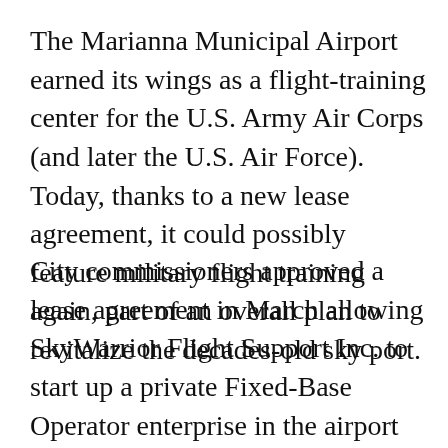The Marianna Municipal Airport earned its wings as a flight-training center for the U.S. Army Air Corps (and later the U.S. Air Force). Today, thanks to a new lease agreement, it could possibly feature military flight training again, part of an overall plan to revitalize the decades-old sky port.
City commissioners approved a lease agreement in March allowing SkyWarrior Flight Support Inc. to start up a private Fixed-Base Operator enterprise in the airport terminal. The lease is for five years, but it could be extended to eight years if